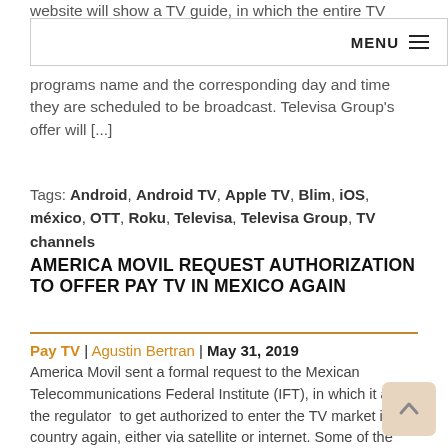MENU ≡
website will show a TV guide, in which the entire TV programs name and the corresponding day and time they are scheduled to be broadcast. Televisa Group's offer will [...]
Tags: Android, Android TV, Apple TV, Blim, iOS, méxico, OTT, Roku, Televisa, Televisa Group, TV channels
AMERICA MOVIL REQUEST AUTHORIZATION TO OFFER PAY TV IN MEXICO AGAIN
Pay TV | Agustin Bertran | May 31, 2019
America Movil sent a formal request to the Mexican Telecommunications Federal Institute (IFT), in which it asks the regulator to get authorized to enter the TV market in the country again, either via satellite or internet. Some of the arguments presented by the company in the request were that enabling TV access for any of [...]
Tags: Altan Networks, América Móvil, bundling services, IFT, méxico, Pay-TV, request, sky, Telcel, Telecommunications Federal Institute, Televisa Group, Telmex